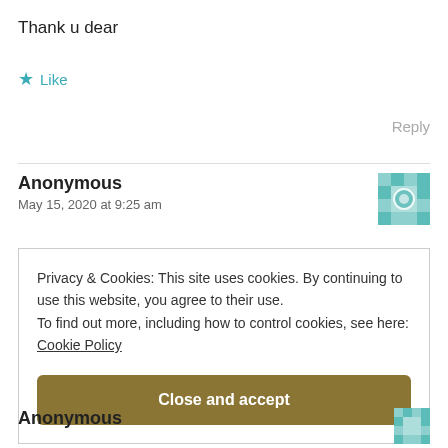Thank u dear
★ Like
Reply
Anonymous
May 15, 2020 at 9:25 am
Privacy & Cookies: This site uses cookies. By continuing to use this website, you agree to their use.
To find out more, including how to control cookies, see here:
Cookie Policy
Close and accept
Anonymous